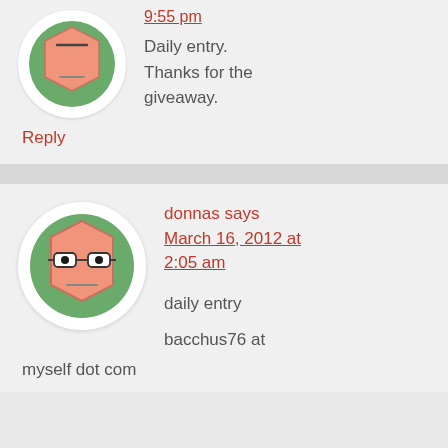[Figure (illustration): Avatar icon: hexagonal face with no glasses on green circular background]
9:55 pm
Daily entry. Thanks for the giveaway.
Reply
[Figure (illustration): Avatar icon: hexagonal face with glasses on green circular background]
donnas says March 16, 2012 at 2:05 am
daily entry
bacchus76 at myself dot com